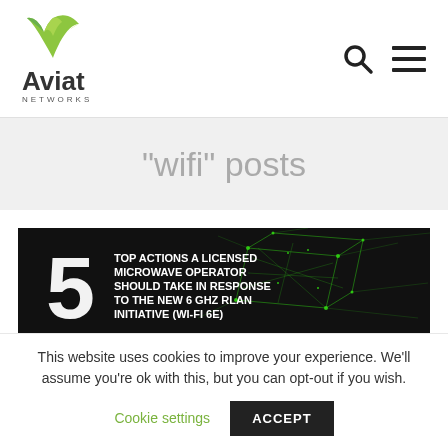[Figure (logo): Aviat Networks logo with green V-shape bird icon above 'Aviat' text and 'NETWORKS' subtitle]
"wifi" posts
[Figure (illustration): Dark banner image with large white '5' and text 'TOP ACTIONS A LICENSED MICROWAVE OPERATOR SHOULD TAKE IN RESPONSE TO THE NEW 6 GHZ RLAN INITIATIVE (WI-FI 6E)' with green glowing network cube graphic]
This website uses cookies to improve your experience. We'll assume you're ok with this, but you can opt-out if you wish.
Cookie settings   ACCEPT